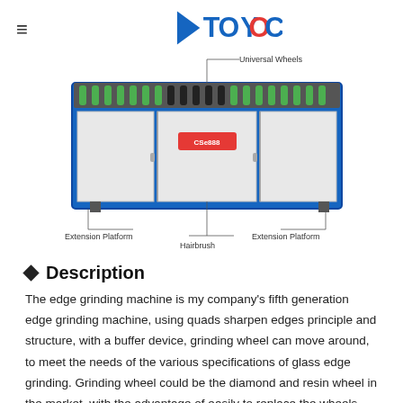TOYOCC
[Figure (engineering-diagram): Industrial edge grinding machine shown from front view with labeled parts: Universal Wheels (top center), Extension Platform (bottom left), Hairbrush (bottom center), Extension Platform (bottom right). Machine has blue frame with white panels and roller conveyor on top.]
Description
The edge grinding machine is my company's fifth generation edge grinding machine, using quads sharpen edges principle and structure, with a buffer device, grinding wheel can move around, to meet the needs of the various specifications of glass edge grinding. Grinding wheel could be the diamond and resin wheel in the market, with the advantage of easily to replace the wheels, durable long using term of the machine, edge grinding effect is exquisite,